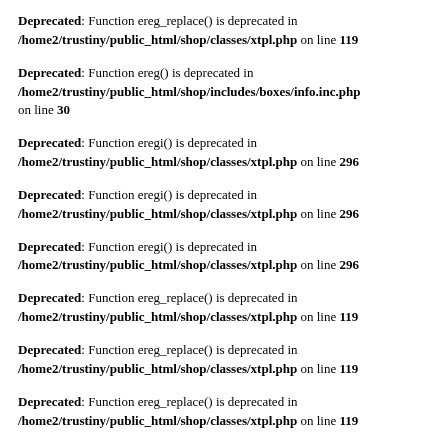Deprecated: Function ereg_replace() is deprecated in /home2/trustiny/public_html/shop/classes/xtpl.php on line 119
Deprecated: Function ereg() is deprecated in /home2/trustiny/public_html/shop/includes/boxes/info.inc.php on line 30
Deprecated: Function eregi() is deprecated in /home2/trustiny/public_html/shop/classes/xtpl.php on line 296
Deprecated: Function eregi() is deprecated in /home2/trustiny/public_html/shop/classes/xtpl.php on line 296
Deprecated: Function eregi() is deprecated in /home2/trustiny/public_html/shop/classes/xtpl.php on line 296
Deprecated: Function ereg_replace() is deprecated in /home2/trustiny/public_html/shop/classes/xtpl.php on line 119
Deprecated: Function ereg_replace() is deprecated in /home2/trustiny/public_html/shop/classes/xtpl.php on line 119
Deprecated: Function ereg_replace() is deprecated in /home2/trustiny/public_html/shop/classes/xtpl.php on line 119